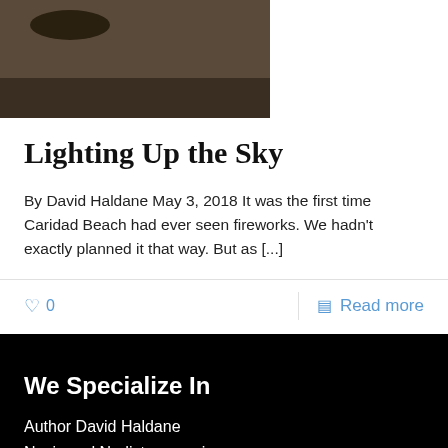[Figure (photo): Partial photo visible at top of page showing a sandy or earthy outdoor scene, partially cropped]
Lighting Up the Sky
By David Haldane May 3, 2018 It was the first time Caridad Beach had ever seen fireworks. We hadn't exactly planned it that way. But as [...]
♡ 0
Read more
We Specialize In
Author David Haldane
Nazis and Nudists memoir